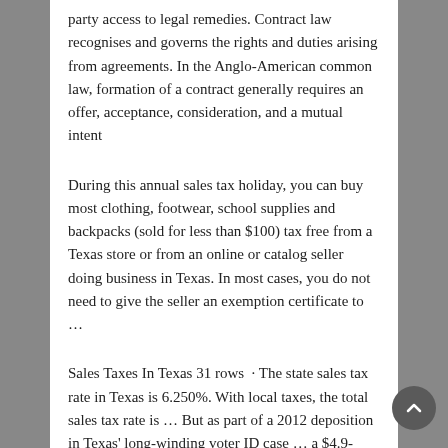party access to legal remedies. Contract law recognises and governs the rights and duties arising from agreements. In the Anglo-American common law, formation of a contract generally requires an offer, acceptance, consideration, and a mutual intent
During this annual sales tax holiday, you can buy most clothing, footwear, school supplies and backpacks (sold for less than $100) tax free from a Texas store or from an online or catalog seller doing business in Texas. In most cases, you do not need to give the seller an exemption certificate to …
Sales Taxes In Texas 31 rows · The state sales tax rate in Texas is 6.250%. With local taxes, the total sales tax rate is … But as part of a 2012 deposition in Texas' long-winding voter ID case … a $4.9-